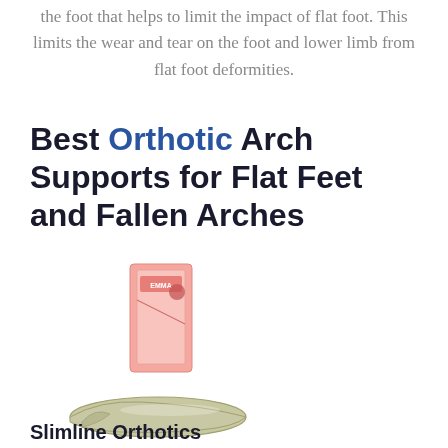the foot that helps to limit the impact of flat foot. This limits the wear and tear on the foot and lower limb from flat foot deformities.
Best Orthotic Arch Supports for Flat Feet and Fallen Arches
[Figure (photo): Photo of an orthotic arch support insole product next to its pink retail packaging box labeled 'EMMA']
Slimline Orthotics